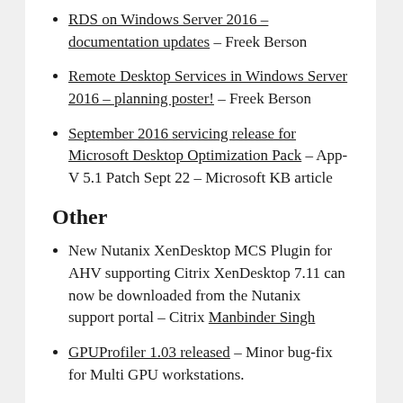RDS on Windows Server 2016 – documentation updates – Freek Berson
Remote Desktop Services in Windows Server 2016 – planning poster! – Freek Berson
September 2016 servicing release for Microsoft Desktop Optimization Pack – App-V 5.1 Patch Sept 22 – Microsoft KB article
Other
New Nutanix XenDesktop MCS Plugin for AHV supporting Citrix XenDesktop 7.11 can now be downloaded from the Nutanix support portal – Citrix Manbinder Singh
GPUProfiler 1.03 released – Minor bug-fix for Multi GPU workstations.